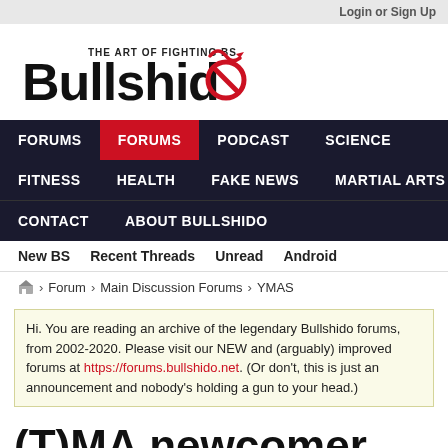Login or Sign Up
[Figure (logo): Bullshido logo — 'The Art of Fighting BS' with stylized bold text and red devil tail/no symbol]
FORUMS | FORUMS (active) | PODCAST | SCIENCE | FITNESS | HEALTH | FAKE NEWS | MARTIAL ARTS | CONTACT | ABOUT BULLSHIDO
New BS  Recent Threads  Unread  Android
Home > Forum > Main Discussion Forums > YMAS
Hi. You are reading an archive of the legendary Bullshido forums, from 2002-2020. Please visit our NEW and (arguably) improved forums at https://forums.bullshido.net. (Or don't, this is just an announcement and nobody's holding a gun to your head.)
(T)MA newcomer